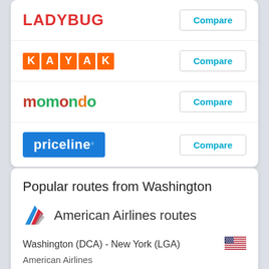[Figure (logo): Ladybug logo with red stylized text]
Compare
[Figure (logo): KAYAK logo with orange letter blocks]
Compare
[Figure (logo): momondo logo in multicolor text]
Compare
[Figure (logo): priceline logo in blue box with white text]
Compare
Popular routes from Washington
[Figure (logo): American Airlines tail logo icon]
American Airlines routes
Washington (DCA) - New York (LGA)
American Airlines